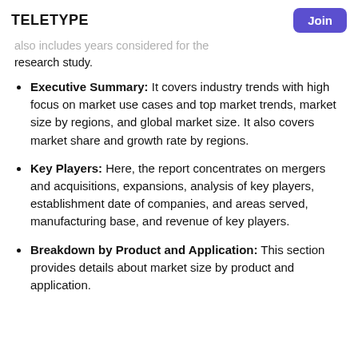Teletype | Join
also includes years considered for the research study.
Executive Summary: It covers industry trends with high focus on market use cases and top market trends, market size by regions, and global market size. It also covers market share and growth rate by regions.
Key Players: Here, the report concentrates on mergers and acquisitions, expansions, analysis of key players, establishment date of companies, and areas served, manufacturing base, and revenue of key players.
Breakdown by Product and Application: This section provides details about market size by product and application.